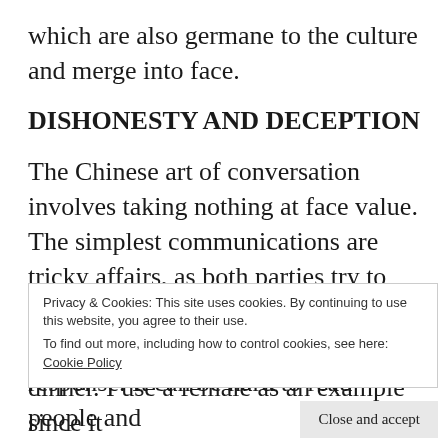which are also germane to the culture and merge into face.
DISHONESTY AND DECEPTION
The Chinese art of conversation involves taking nothing at face value. The simplest communications are tricky affairs, as both parties try to work out what the other really means and the right chess moves to make in response. It can be hard to read people and
Privacy & Cookies: This site uses cookies. By continuing to use this website, you agree to their use.
To find out more, including how to control cookies, see here: Cookie Policy
dinner. I use a female as an example since it